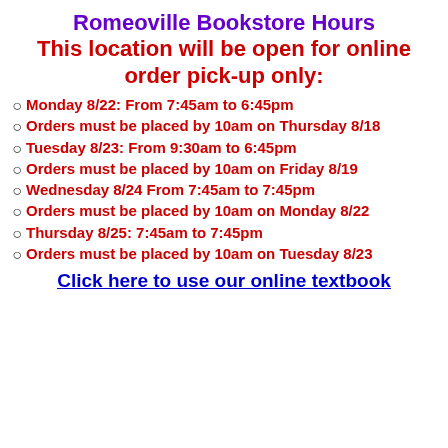Romeoville Bookstore Hours
This location will be open for online order pick-up only:
Monday 8/22: From 7:45am to 6:45pm
Orders must be placed by 10am on Thursday 8/18
Tuesday 8/23: From 9:30am to 6:45pm
Orders must be placed by 10am on Friday 8/19
Wednesday 8/24 From 7:45am to 7:45pm
Orders must be placed by 10am on Monday 8/22
Thursday 8/25:  7:45am to 7:45pm
Orders must be placed by 10am on Tuesday 8/23
Click here to use our online textbook